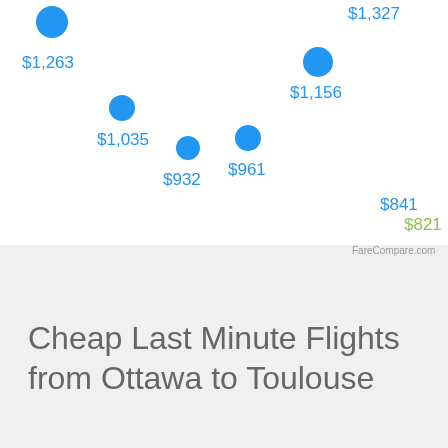[Figure (scatter-plot): Flight prices from Ottawa to Toulouse]
Cheap Last Minute Flights from Ottawa to Toulouse